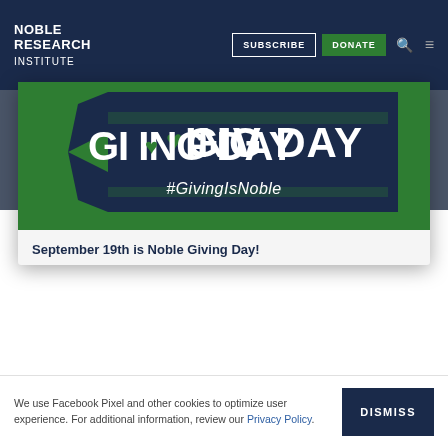NOBLE RESEARCH INSTITUTE | SUBSCRIBE | DONATE
[Figure (illustration): Giving Day promotional banner with dark blue ribbon shape on green background. Text reads 'GIVING DAY' in large white bold letters with a heart icon replacing the letter I, and '#GivingIsNoble' below in white italic text.]
September 19th is Noble Giving Day!
We use Facebook Pixel and other cookies to optimize user experience. For additional information, review our Privacy Policy.